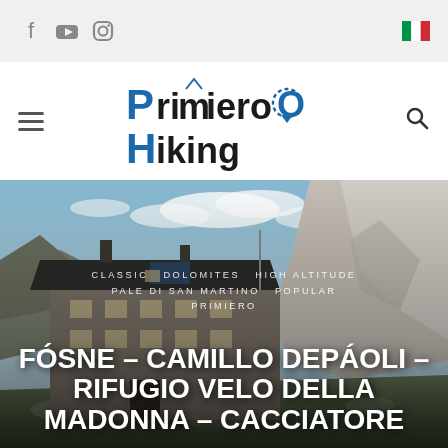[Figure (logo): Top bar with Facebook, YouTube, Instagram social icons and Italian flag]
[Figure (logo): Primiero Hiking logo - stylized text logo with location pin, blue and dark colors]
[Figure (photo): Mountain refuge building (rifugio) in the Dolomites, stone building with dark roof, rocky mountains in background, blue sky with clouds]
CLASSIC  DOLOMITES  HIGH ALTITUDE  PALE DI SAN MARTINO  POPULAR  PRIMIERO
FÓSNE – CAMILLO DEPÁOLI – RIFUGIO VELO DELLA MADONNA – CACCIATORE